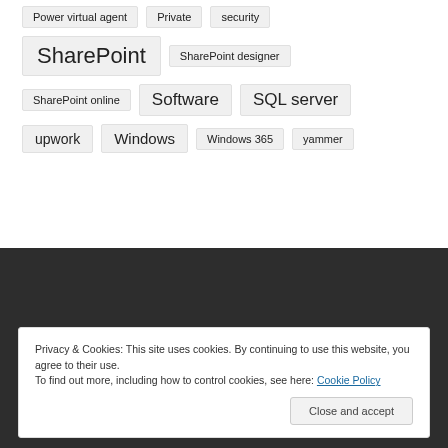Power virtual agent
Private
security
SharePoint
SharePoint designer
SharePoint online
Software
SQL server
upwork
Windows
Windows 365
yammer
Privacy & Cookies: This site uses cookies. By continuing to use this website, you agree to their use.
To find out more, including how to control cookies, see here: Cookie Policy
Close and accept